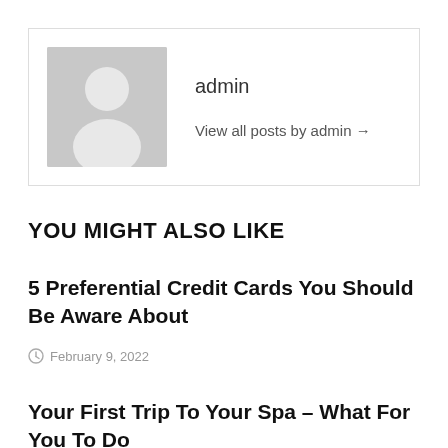[Figure (photo): Author box with grey placeholder avatar silhouette (person icon) on left, author name 'admin' and 'View all posts by admin →' link on right, enclosed in a thin border box]
admin
View all posts by admin →
YOU MIGHT ALSO LIKE
5 Preferential Credit Cards You Should Be Aware About
February 9, 2022
Your First Trip To Your Spa – What For You To Do